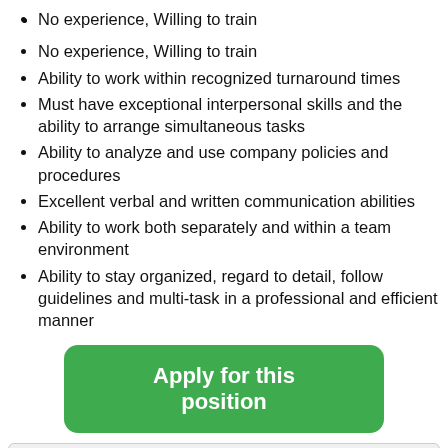No experience, Willing to train
Ability to work within recognized turnaround times
Must have exceptional interpersonal skills and the ability to arrange simultaneous tasks
Ability to analyze and use company policies and procedures
Excellent verbal and written communication abilities
Ability to work both separately and within a team environment
Ability to stay organized, regard to detail, follow guidelines and multi-task in a professional and efficient manner
Apply for this position
Share this job: [icons] Please mention that you found this job on